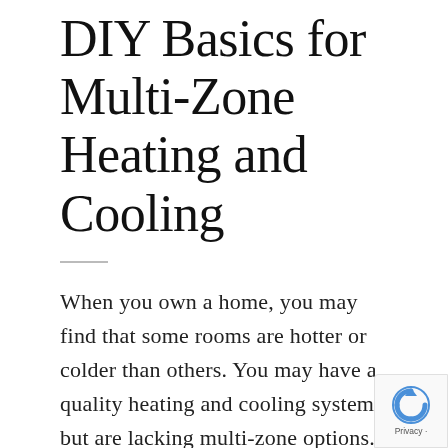DIY Basics for Multi-Zone Heating and Cooling
When you own a home, you may find that some rooms are hotter or colder than others. You may have a quality heating and cooling system but are lacking multi-zone options. With zoned areas of your home, you can control individual spaces, allowing you to control the comfort level in every area of your home.
[Figure (logo): reCAPTCHA badge with Google logo and Privacy text]